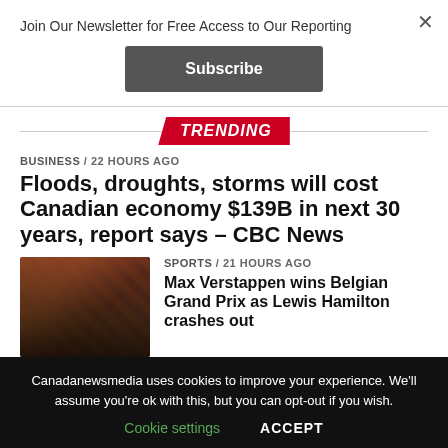Join Our Newsletter for Free Access to Our Reporting
Subscribe
TRENDING
BUSINESS / 22 hours ago
Floods, droughts, storms will cost Canadian economy $139B in next 30 years, report says – CBC News
SPORTS / 21 hours ago
Max Verstappen wins Belgian Grand Prix as Lewis Hamilton crashes out
Canadanewsmedia uses cookies to improve your experience. We'll assume you're ok with this, but you can opt-out if you wish.
Cookie settings   ACCEPT